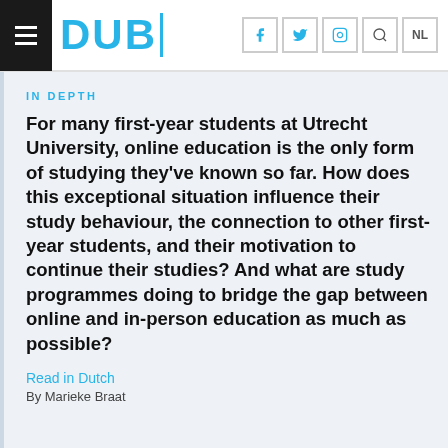DUB
IN DEPTH
For many first-year students at Utrecht University, online education is the only form of studying they've known so far. How does this exceptional situation influence their study behaviour, the connection to other first-year students, and their motivation to continue their studies? And what are study programmes doing to bridge the gap between online and in-person education as much as possible?
Read in Dutch
By Marieke Braat